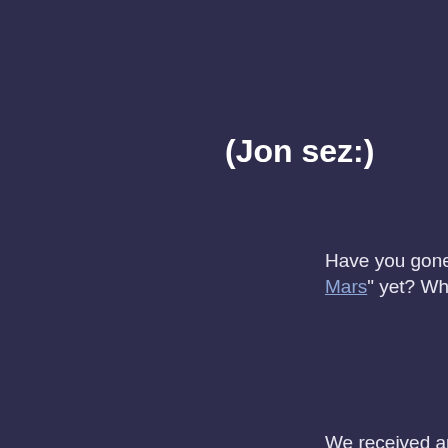(Jon sez:)
(M
Have you gone and read Royce Day's "Free Mars" yet? Whyever not? It's great, dammit!
We received another piece of fan writing this week, which I will be HTMLizing and sending to Mark to be put on the fanart page. This is very, very cool. Have I mentioned lately how great you guys - our readers - are? I haven't? Well, you are.
In space news, the Cassini probe at Saturn has discovered the largest lightning storm on the planet. An image of the storm was taken by the light of Saturn's rings. I'd like